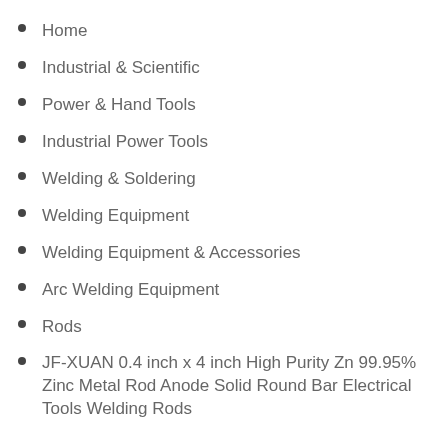Home
Industrial & Scientific
Power & Hand Tools
Industrial Power Tools
Welding & Soldering
Welding Equipment
Welding Equipment & Accessories
Arc Welding Equipment
Rods
JF-XUAN 0.4 inch x 4 inch High Purity Zn 99.95% Zinc Metal Rod Anode Solid Round Bar Electrical Tools Welding Rods